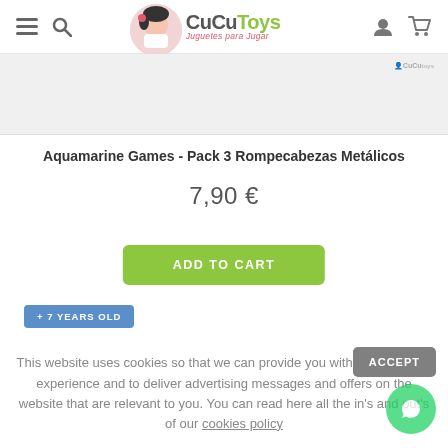CuCuToys - Juguetes para Jugar
[Figure (screenshot): CuCuToys website header with logo, hamburger menu, search icon, user icon, and cart icon]
Aquamarine Games - Pack 3 Rompecabezas Metálicos
7,90 €
ADD TO CART
+ 7 YEARS OLD
This website uses cookies so that we can provide you with the best user experience and to deliver advertising messages and offers on the website that are relevant to you. You can read here all the in's and out's of our cookies policy
ACCEPT